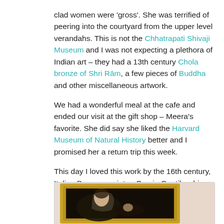clad women were 'gross'. She was terrified of peering into the courtyard from the upper level verandahs. This is not the Chhatrapati Shivaji Museum and I was not expecting a plethora of Indian art – they had a 13th century Chola bronze of Shri Rām, a few pieces of Buddha and other miscellaneous artwork.
We had a wonderful meal at the cafe and ended our visit at the gift shop – Meera's favorite. She did say she liked the Harvard Museum of Natural History better and I promised her a return trip this week.
This day I loved this work by the 16th century, Italian Baroque painter, Orazio Gentileschi – Virgin and the Sleeping Christ; see how kindly she shields the child with her diaphanous veil.
[Figure (photo): A photograph of a painting in an ornate gold frame, showing the Virgin and the Sleeping Christ by Orazio Gentileschi, displayed on a light pink/beige wall.]